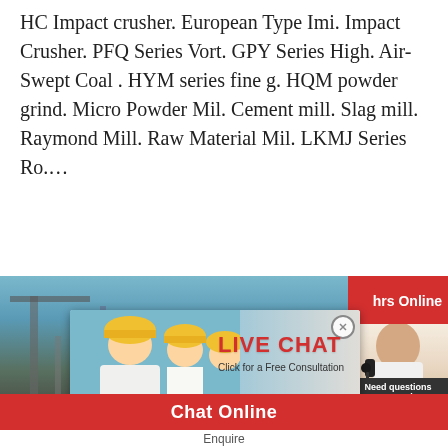HC Impact crusher. European Type Imi. Impact Crusher. PFQ Series Vort. GPY Series High. Air-Swept Coal . HYM series fine g. HQM powder grind. Micro Powder Mil. Cement mill. Slag mill. Raymond Mill. Raw Material Mil. LKMJ Series Ro.…
[Figure (screenshot): Industrial machinery website screenshot with live chat popup overlay showing workers in yellow helmets, LIVE CHAT title in red, 'Click for a Free Consultation', Chat now and Chat later buttons. Right side shows customer service agent with headset and 'Need questions & suggestion?' panel with red Chat Now button. Bottom has More and Online C buttons. Red footer bar with Chat Online text.]
Chat Online